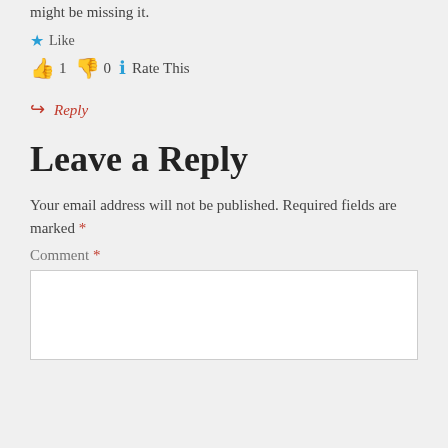might be missing it.
★ Like
👍 1  👎 0  ℹ Rate This
↪ Reply
Leave a Reply
Your email address will not be published. Required fields are marked *
Comment *